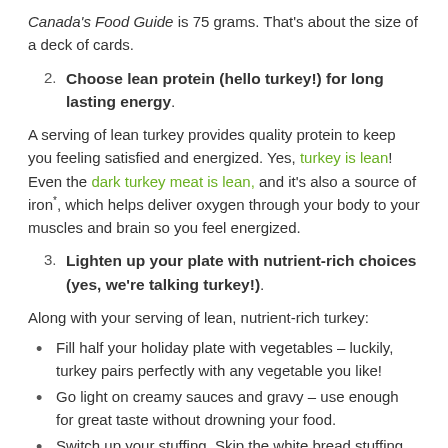Canada's Food Guide is 75 grams. That's about the size of a deck of cards.
2. Choose lean protein (hello turkey!) for long lasting energy.
A serving of lean turkey provides quality protein to keep you feeling satisfied and energized. Yes, turkey is lean! Even the dark turkey meat is lean, and it's also a source of iron*, which helps deliver oxygen through your body to your muscles and brain so you feel energized.
3. Lighten up your plate with nutrient-rich choices (yes, we're talking turkey!).
Along with your serving of lean, nutrient-rich turkey:
Fill half your holiday plate with vegetables – luckily, turkey pairs perfectly with any vegetable you like!
Go light on creamy sauces and gravy – use enough for great taste without drowning your food.
Switch up your stuffing. Skip the white bread stuffing. There are so many better-for-you choices! Check out this